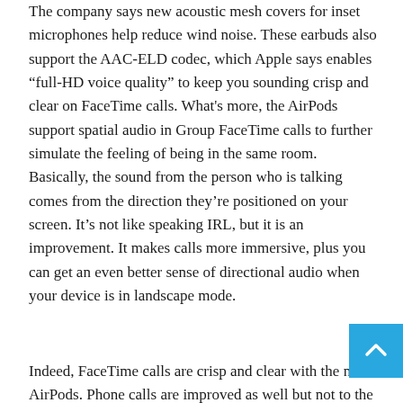The company says new acoustic mesh covers for inset microphones help reduce wind noise. These earbuds also support the AAC-ELD codec, which Apple says enables “full-HD voice quality” to keep you sounding crisp and clear on FaceTime calls. What's more, the AirPods support spatial audio in Group FaceTime calls to further simulate the feeling of being in the same room. Basically, the sound from the person who is talking comes from the direction they’re positioned on your screen. It’s not like speaking IRL, but it is an improvement. It makes calls more immersive, plus you can get an even better sense of directional audio when your device is in landscape mode.
Indeed, FaceTime calls are crisp and clear with the new AirPods. Phone calls are improved as well but not to the same degree. Voice quality is here better than most earbuds I’ve tested, but not by a ton. True to Apple’s claims, these AirPods do a decent job blocking background noise and focusing on